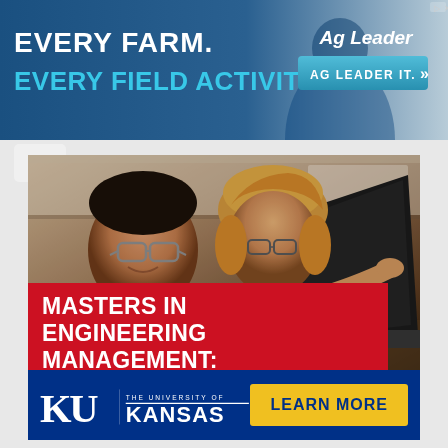[Figure (infographic): Top banner advertisement for Ag Leader showing 'EVERY FARM. EVERY FIELD ACTIVITY.' with Ag Leader logo and 'AG LEADER IT.' call-to-action button]
[Figure (photo): Two students (a man with glasses and a woman wearing a headscarf) looking at a laptop screen in a classroom setting]
MASTERS IN ENGINEERING MANAGEMENT: ONLINE OR IN KC
[Figure (logo): University of Kansas (KU) logo in white on blue background alongside a yellow 'LEARN MORE' button]